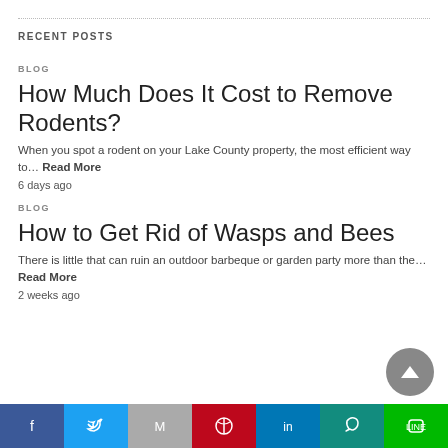RECENT POSTS
BLOG
How Much Does It Cost to Remove Rodents?
When you spot a rodent on your Lake County property, the most efficient way to… Read More
6 days ago
BLOG
How to Get Rid of Wasps and Bees
There is little that can ruin an outdoor barbeque or garden party more than the… Read More
2 weeks ago